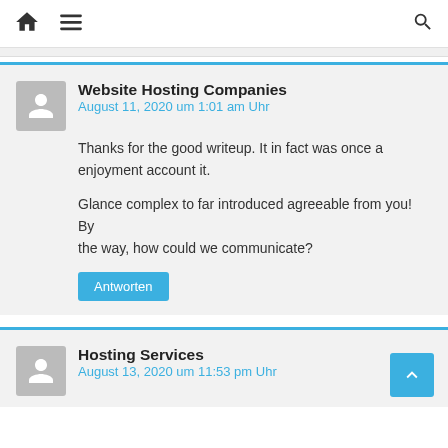Home | Menu | Search
Website Hosting Companies
August 11, 2020 um 1:01 am Uhr
Thanks for the good writeup. It in fact was once a enjoyment account it.
Glance complex to far introduced agreeable from you! By the way, how could we communicate?
Antworten
Hosting Services
August 13, 2020 um 11:53 pm Uhr